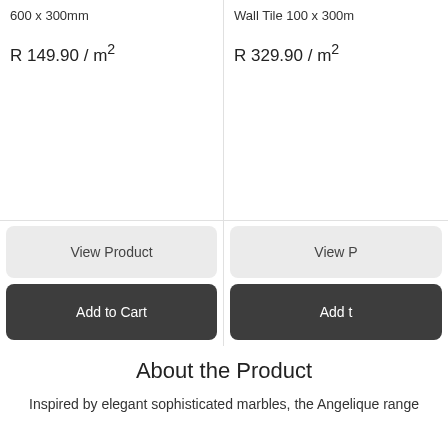600 x 300mm
R 149.90 / m²
Wall Tile 100 x 300m
R 329.90 / m²
View Product
View P
Add to Cart
Add t
About the Product
Inspired by elegant sophisticated marbles, the Angelique range